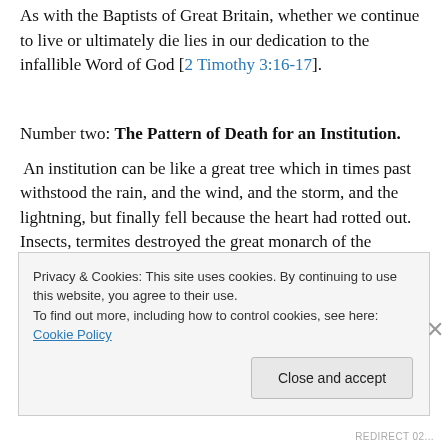As with the Baptists of Great Britain, whether we continue to live or ultimately die lies in our dedication to the infallible Word of God [2 Timothy 3:16-17].
Number two: The Pattern of Death for an Institution.
An institution can be like a great tree which in times past withstood the rain, and the wind, and the storm, and the lightning, but finally fell because the heart had rotted out. Insects, termites destroyed the great monarch of the
Privacy & Cookies: This site uses cookies. By continuing to use this website, you agree to their use.
To find out more, including how to control cookies, see here: Cookie Policy